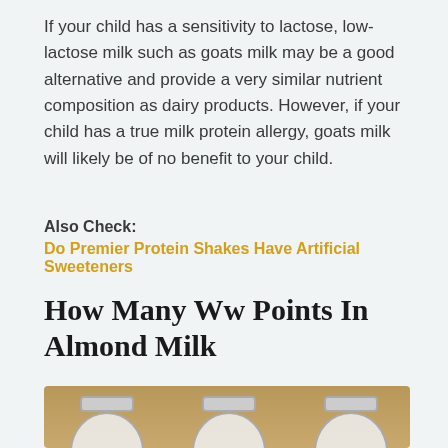If your child has a sensitivity to lactose, low-lactose milk such as goats milk may be a good alternative and provide a very similar nutrient composition as dairy products. However, if your child has a true milk protein allergy, goats milk will likely be of no benefit to your child.
Also Check:
Do Premier Protein Shakes Have Artificial Sweeteners
How Many Ww Points In Almond Milk
[Figure (photo): Three glass jars with clamp lids on a wooden surface, labeled 'Almond Butter Milk', 'Oat' (partially visible), and 'Soy Milk', with a video play button overlay at the bottom.]